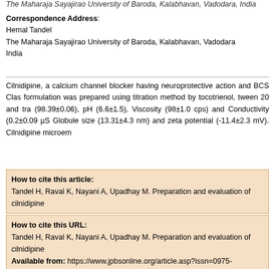The Maharaja Sayajirao University of Baroda, Kalabhavan, Vadodara, India
Correspondence Address:
Hemal Tandel
The Maharaja Sayajirao University of Baroda, Kalabhavan, Vadodara
India
Cilnidipine, a calcium channel blocker having neuroprotective action and BCS Clas formulation was prepared using titration method by tocotrienol, tween 20 and tra (98.39±0.06), pH (6.6±1.5), Viscosity (98±1.0 cps) and Conductivity (0.2±0.09 µS Globule size (13.31±4.3 nm) and zeta potential (-11.4±2.3 mV). Cilnidipine microem
How to cite this article:
Tandel H, Raval K, Nayani A, Upadhay M. Preparation and evaluation of cilnidipine
How to cite this URL:
Tandel H, Raval K, Nayani A, Upadhay M. Preparation and evaluation of cilnidipine
Available from: https://www.jpbsonline.org/article.asp?issn=0975-7406;year=201